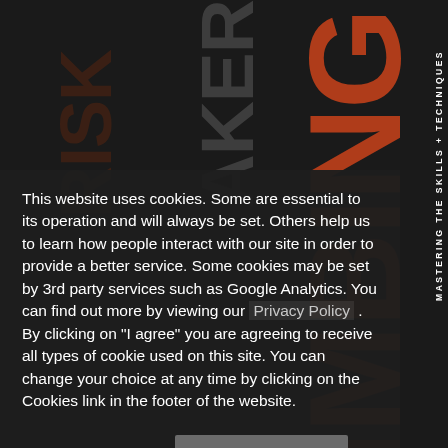[Figure (illustration): Dark background book cover design with large orange and dark red text spelling 'CLIMBING' vertically on the right, 'TAKER' vertically in gray, 'RISK' partially visible, and 'MASTERING THE SKILLS + TECHNIQUES' text rotated vertically on far right.]
This website uses cookies. Some are essential to its operation and will always be set. Others help us to learn how people interact with our site in order to provide a better service. Some cookies may be set by 3rd party services such as Google Analytics. You can find out more by viewing our Privacy Policy . By clicking on "I agree" you are agreeing to receive all types of cookie used on this site. You can change your choice at any time by clicking on the Cookies link in the footer of the website.
Change settings
I agree